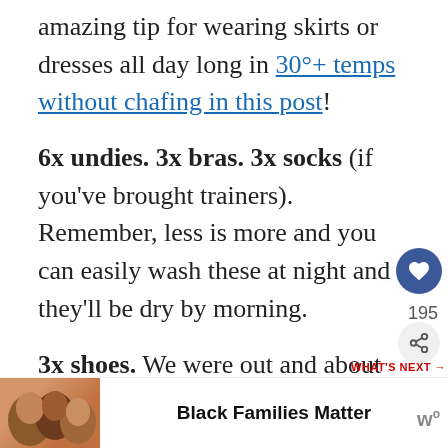amazing tip for wearing skirts or dresses all day long in 30°+ temps without chafing in this post!
6x undies. 3x bras. 3x socks (if you've brought trainers). Remember, less is more and you can easily wash these at night and they'll be dry by morning.
3x shoes. We were out and about each day exploring ancient sites, visiting museums, stopping in restaurants for lunch, riding long boats and cyclos and wandering through
[Figure (screenshot): UI overlay showing heart/like button with 195 count and share button]
[Figure (screenshot): What's Next promo box: 'How to pack light for you...']
[Figure (photo): Ad banner: Black Families Matter with photo of people]